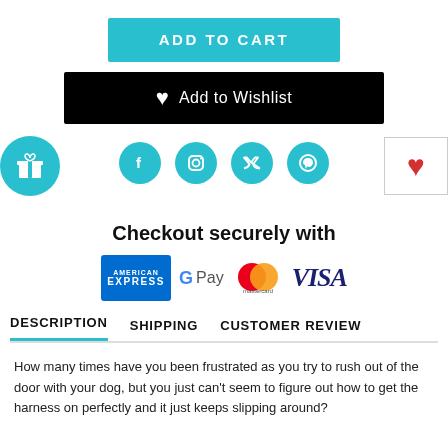[Figure (other): ADD TO CART button in teal/cyan color]
[Figure (other): Add to Wishlist button in black with heart icon]
[Figure (other): Gift box icon circle on left, red heart favorite box on right, and four social media circles (Facebook, Instagram, Twitter, Pinterest) in teal]
Checkout securely with
[Figure (other): Payment logos: American Express, G Pay, Mastercard, Visa]
[Figure (other): Tab navigation: DESCRIPTION (active, underlined), SHIPPING, CUSTOMER REVIEW]
How many times have you been frustrated as you try to rush out of the door with your dog, but you just can't seem to figure out how to get the harness on perfectly and it just keeps slipping around?